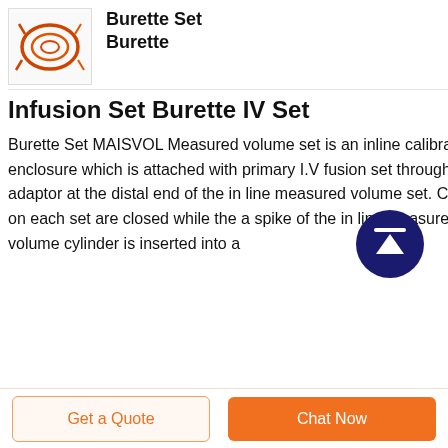[Figure (photo): Small image of a burette set / IV infusion coil tubing in orange/red color on white background]
Burette Set Burette
Infusion Set Burette IV Set
Burette Set MAISVOL Measured volume set is an inline calibrated enclosure which is attached with primary I.V fusion set through spike adaptor at the distal end of the in line measured volume set. Clamps on each set are closed while the a spike of the in line measured volume cylinder is inserted into a
[Figure (illustration): Dark navy blue circular button with white upward arrow and a horizontal line at the top — a scroll-to-top button]
Get a Quote
Chat Now